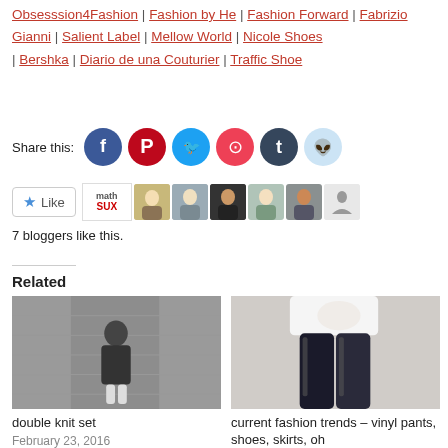Obsesssion4Fashion | Fashion by He | Fashion Forward | Fabrizio Gianni | Salient Label | Mellow World | Nicole Shoes | Bershka | Diario de una Couturier | Traffic Shoe
Share this:
[Figure (infographic): Share buttons: Facebook, Pinterest, Twitter, Pocket, Tumblr, Reddit]
[Figure (infographic): Like button with star icon and 7 blogger avatars including math SUX text block and 6 profile photos/silhouettes]
7 bloggers like this.
Related
[Figure (photo): Black and white photo of a person in dark outfit standing in front of a brick wall]
double knit set
February 23, 2016
[Figure (photo): Photo of person in white top and shiny vinyl/leather pants]
current fashion trends – vinyl pants, shoes, skirts, oh